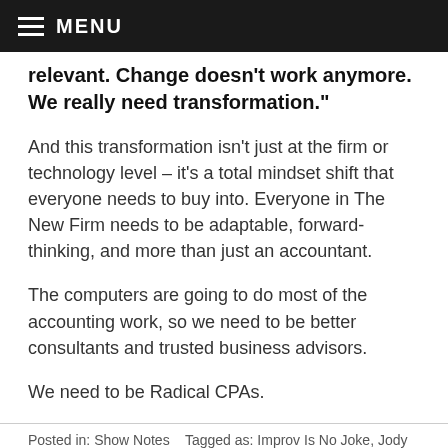MENU
relevant. Change doesn’t work anymore. We really need transformation.”
And this transformation isn’t just at the firm or technology level – it’s a total mindset shift that everyone needs to buy into. Everyone in The New Firm needs to be adaptable, forward-thinking, and more than just an accountant.
The computers are going to do most of the accounting work, so we need to be better consultants and trusted business advisors.
We need to be Radical CPAs.
Posted in: Show Notes    Tagged as: Improv Is No Joke, Jody